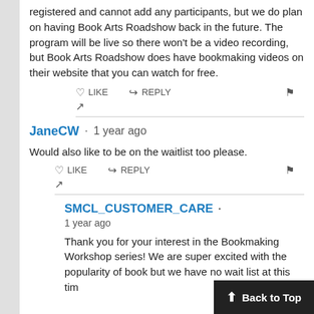registered and cannot add any participants, but we do plan on having Book Arts Roadshow back in the future. The program will be live so there won't be a video recording, but Book Arts Roadshow does have bookmaking videos on their website that you can watch for free.
JaneCW · 1 year ago
Would also like to be on the waitlist too please.
SMCL_CUSTOMER_CARE · 1 year ago
Thank you for your interest in the Bookmaking Workshop series! We are super excited with the popularity of book but we have no wait list at this tim